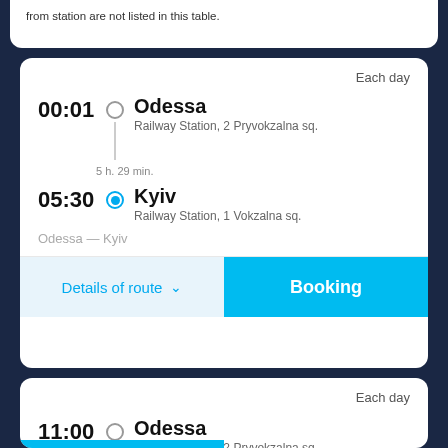from station are not listed in this table.
Each day
00:01  Odessa  Railway Station, 2 Pryvokzalna sq.
5 h. 29 min.
05:30  Kyiv  Railway Station, 1 Vokzalna sq.
Odessa — Kyiv
Details of route
Booking
Each day
11:00  Odessa  Railway Station, 2 Pryvokzalna sq.
7 h. 0 min.
18:00  Kyiv  Metro station 'Teremky' (direction ...
Odessa — Kyiv